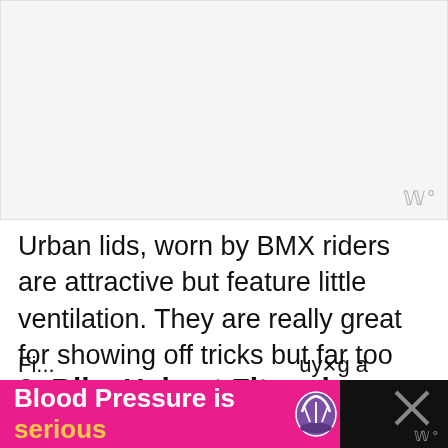[Figure (photo): Blank/placeholder image area at top of page]
Urban lids, worn by BMX riders are attractive but feature little ventilation. They are really great for showing off tricks but far too hot for a long bike ride.
2. Bike Helmet Fit and Comfort
[Figure (infographic): Advertisement banner: 'Blood Pressure is serious' in pink background with icon, and partial text 'buy g a bi...' visible with watermark icon on dark background]